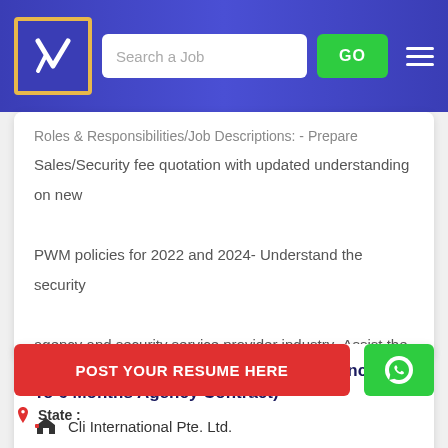Search a Job | GO
Roles & Responsibilities/Job Descriptions: - Prepare Sales/Security fee quotation with updated understanding on new PWM policies for 2022 and 2024- Understand the security agency and security service provider industry- Assist the GM and MD with appropriate marketing collaterals for meetings and visuals...
Temp Senior Executive / Manager, Finance (3 To 6 Months Agency Contract)
Cli International Pte. Ltd.
POST YOUR RESUME HERE
State :